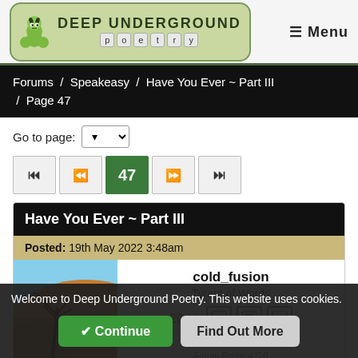[Figure (logo): Deep Underground Poetry logo with caterpillar mascot and styled text]
≡ Menu
Forums / Speakeasy / Have You Ever ~ Part III / Page 47
Go to page: [dropdown]
Pagination: |◄ ◄◄ 47 ►► ►|
Have You Ever ~ Part III
Posted: 19th May 2022 3:48am
[Figure (photo): Desert landscape with dead tree and sandy dunes under blue sky]
cold_fusion
Tyrant of Words
20 [badges]
Joined 14th June 2017
Forum Posts: 4720
Welcome to Deep Underground Poetry. This website uses cookies.
✔ Continue   Find Out More